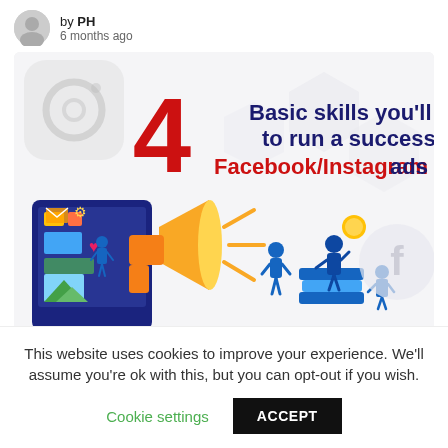by PH
6 months ago
[Figure (infographic): Infographic titled '4 Basic skills you'll need to run a successful Facebook/Instagram ads' with illustrations of a megaphone, people, books, and social media icons. Watermark: @jetheights.com]
140 Shares
This website uses cookies to improve your experience. We'll assume you're ok with this, but you can opt-out if you wish.
Cookie settings  ACCEPT